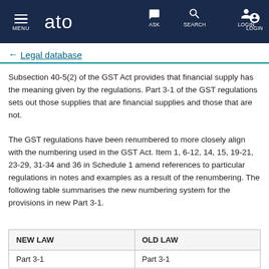MENU | ato | ASK | SEARCH | LOGIN
← Legal database
Subsection 40-5(2) of the GST Act provides that financial supply has the meaning given by the regulations. Part 3-1 of the GST regulations sets out those supplies that are financial supplies and those that are not.
The GST regulations have been renumbered to more closely align with the numbering used in the GST Act. Item 1, 6-12, 14, 15, 19-21, 23-29, 31-34 and 36 in Schedule 1 amend references to particular regulations in notes and examples as a result of the renumbering. The following table summarises the new numbering system for the provisions in new Part 3-1.
| NEW LAW | OLD LAW |
| --- | --- |
| Part 3-1 | Part 3-1 |